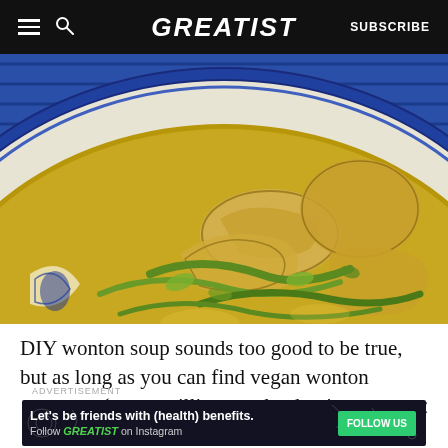GREATIST | SUBSCRIBE
[Figure (photo): Close-up overhead photo of a bowl of wonton soup in a blue and white patterned bowl, showing dumplings/wontons in broth with green onions]
DIY wonton soup sounds too good to be true, but as long as you can find vegan wonton wrappers (or are willing to take the time to make them), it's
ADVERTISEMENT
Let's be friends with (health) benefits. Follow GREATIST on Instagram  FOLLOW US